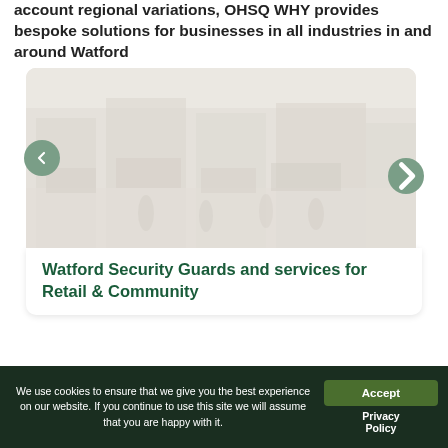account regional variations, OHSQ WHY provides bespoke solutions for businesses in all industries in and around Watford
[Figure (photo): Faded image of a busy retail street or market area, used as a slideshow image within a card component with left and right navigation arrows]
Watford Security Guards and services for Retail & Community
We use cookies to ensure that we give you the best experience on our website. If you continue to use this site we will assume that you are happy with it.